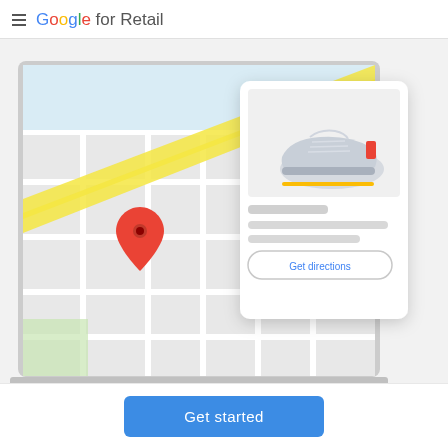Google for Retail
[Figure (illustration): Illustration of a laptop displaying a Google Maps interface with a red location pin, overlaid by a product card showing a grey sneaker, an orange underline, placeholder text lines, and a 'Get directions' button]
Get started